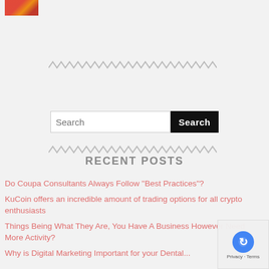[Figure (photo): Small thumbnail image with red/orange tones at top left]
[Figure (other): Zigzag decorative divider line, gray color]
Search
[Figure (other): Zigzag decorative divider line, gray color]
RECENT POSTS
Do Coupa Consultants Always Follow "Best Practices"?
KuCoin offers an incredible amount of trading options for all crypto enthusiasts
Things Being What They Are, You Have A Business However Need More Activity?
Why is Digital Marketing Important for your Dental...